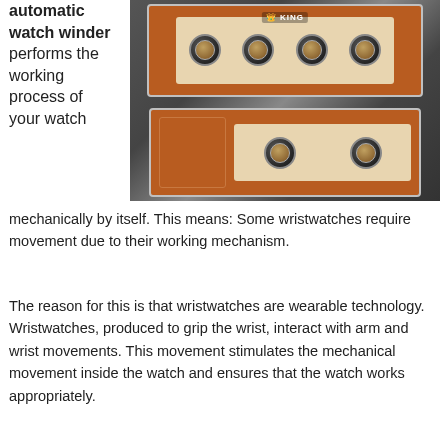automatic watch winder performs the working process of your watch
[Figure (photo): Two orange/brown leather watch winder boxes with KING logo, one stacked on top showing multiple winder rotors, another below with open door showing watches inside on cream interior, photographed against dark textured background.]
mechanically by itself. This means: Some wristwatches require movement due to their working mechanism.
The reason for this is that wristwatches are wearable technology. Wristwatches, produced to grip the wrist, interact with arm and wrist movements. This movement stimulates the mechanical movement inside the watch and ensures that the watch works appropriately.